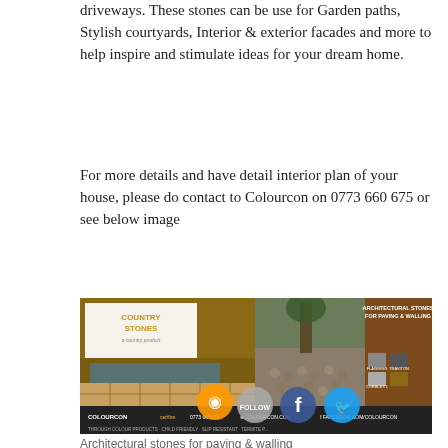driveways. These stones can be use for Garden paths, Stylish courtyards, Interior & exterior facades and more to help inspire and stimulate ideas for your dream home.
For more details and have detail interior plan of your house, please do contact to Colourcon on 0773 660 675 or see below image
[Figure (photo): Colourcon Country Stones advertisement showing architectural stones for paving and walling, with images of driveways and garden paths, product samples, and contact information including 0773 660675 and colourcon.com]
Architectural stones for paving & walling